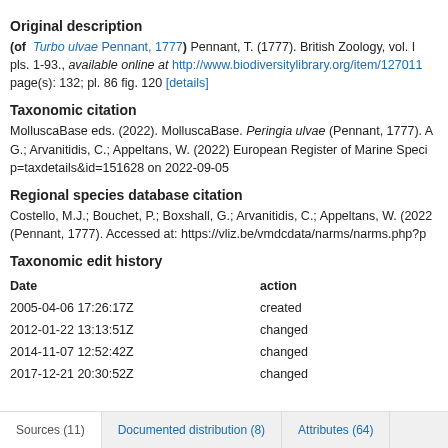Original description
(of  Turbo ulvae Pennant, 1777) Pennant, T. (1777). British Zoology, vol. I pls. 1-93., available online at http://www.biodiversitylibrary.org/item/127011 page(s): 132; pl. 86 fig. 120 [details]
Taxonomic citation
MolluscaBase eds. (2022). MolluscaBase. Peringia ulvae (Pennant, 1777). A G.; Arvanitidis, C.; Appeltans, W. (2022) European Register of Marine Speci p=taxdetails&id=151628 on 2022-09-05
Regional species database citation
Costello, M.J.; Bouchet, P.; Boxshall, G.; Arvanitidis, C.; Appeltans, W. (2022 (Pennant, 1777). Accessed at: https://vliz.be/vmdcdata/narms/narms.php?p
Taxonomic edit history
| Date | action |
| --- | --- |
| 2005-04-06 17:26:17Z | created |
| 2012-01-22 13:13:51Z | changed |
| 2014-11-07 12:52:42Z | changed |
| 2017-12-21 20:30:52Z | changed |
[taxonomic tree]
Sources (11)   Documented distribution (8)   Attributes (64)